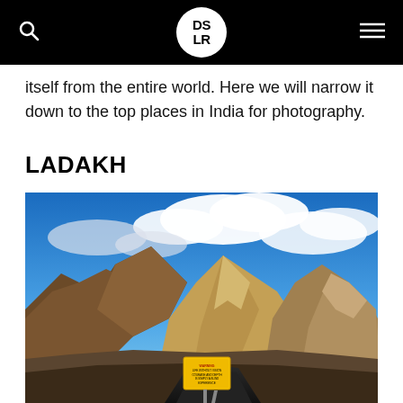DSLR
itself from the entire world. Here we will narrow it down to the top places in India for photography.
LADAKH
[Figure (photo): Landscape photo of Ladakh showing barren brown mountains under a blue sky with clouds, and a yellow road sign reading 'LIFE WITHOUT VISION COURAGE AND DEPTH IS SIMPLY A BLIND EXPERIENCE' in the foreground along a black road.]